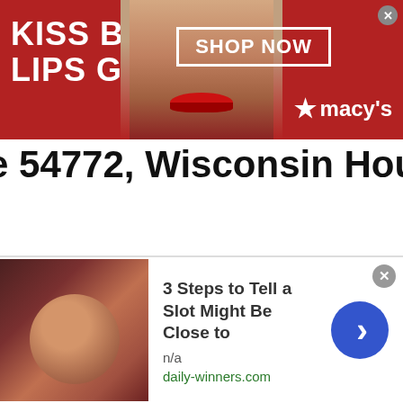[Figure (photo): Macy's advertisement banner: red background with 'KISS BORING LIPS GOODBYE' text in white, woman with red lips photo in center, 'SHOP NOW' button and Macy's logo on right]
e 54772, Wisconsin Housing D
/
tics
[Figure (screenshot): Bottom advertisement widget: '3 Steps to Tell a Slot Might Be Close to' from daily-winners.com, with a photo of a man, n/a text, and a blue arrow button. Has an X close button.]